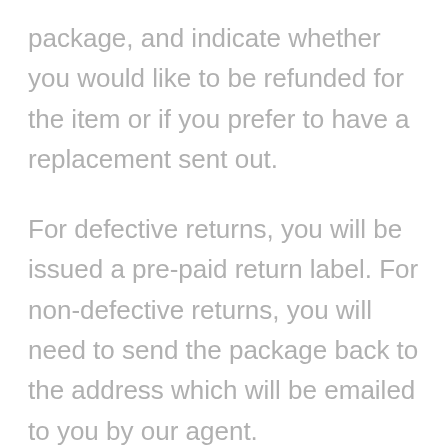package, and indicate whether you would like to be refunded for the item or if you prefer to have a replacement sent out.
For defective returns, you will be issued a pre-paid return label. For non-defective returns, you will need to send the package back to the address which will be emailed to you by our agent.
If you are to receive a refund, it will be issued when the returned item has been received in